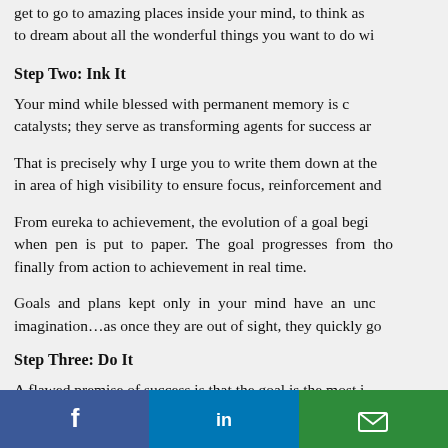get to go to amazing places inside your mind, to think as … to dream about all the wonderful things you want to do wi…
Step Two: Ink It
Your mind while blessed with permanent memory is c… catalysts; they serve as transforming agents for success a…
That is precisely why I urge you to write them down at the… in area of high visibility to ensure focus, reinforcement and…
From eureka to achievement, the evolution of a goal begi… when pen is put to paper. The goal progresses from tho… finally from action to achievement in real time.
Goals and plans kept only in your mind have an unc… imagination…as once they are out of sight, they quickly go…
Step Three: Do It
A flawed premise of success is that the goal is the most i… and that you win or lose based on the merits or worthines…
[Figure (other): Social share bar with Facebook, LinkedIn, and Email buttons]